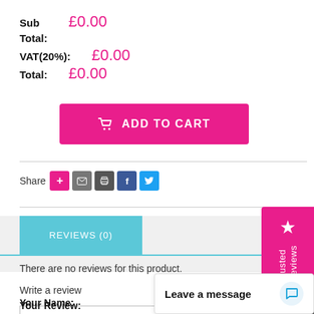Sub Total: £0.00  VAT(20%): £0.00  Total: £0.00
[Figure (other): ADD TO CART button in pink/magenta with shopping cart icon]
Share
[Figure (other): Social share icons: add, email, print, facebook, twitter]
[Figure (other): Reviews tab showing REVIEWS (0) on cyan/teal background tab, with Trusted Reviews badge in pink on the right]
There are no reviews for this product.
Write a review
Your Name:
Your Review:
[Figure (other): Leave a message chat widget and scroll-to-top button]